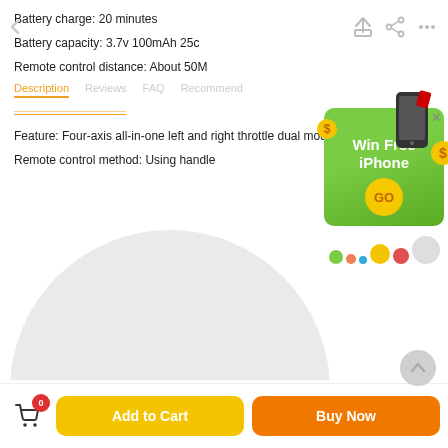Battery charge: 20 minutes
Battery capacity: 3.7v 100mAh 25c
Remote control distance: About 50M
Feature: Four-axis all-in-one left and right throttle dual mode
Remote control method: Using handle
[Figure (screenshot): Mobile e-commerce product page screenshot showing product specifications and an ad overlay saying 'Win Free iPhone' with a green banner and GO button, plus bottom action bar with Add to Cart and Buy Now buttons.]